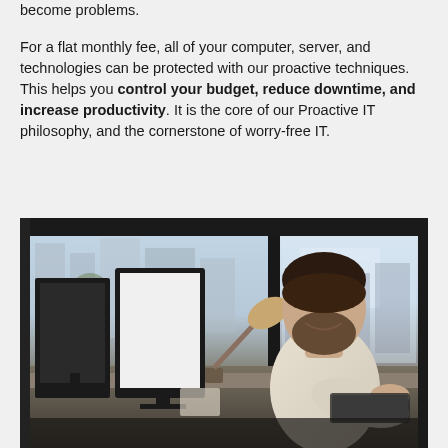become problems.
For a flat monthly fee, all of your computer, server, and technologies can be protected with our proactive techniques. This helps you control your budget, reduce downtime, and increase productivity. It is the core of our Proactive IT philosophy, and the cornerstone of worry-free IT.
[Figure (photo): A man with a beard, wearing a light-colored long-sleeve shirt, sitting at a desk and smiling while using a computer. There are two monitors, a desk lamp, and an office environment with large windows in the background showing an urban view.]